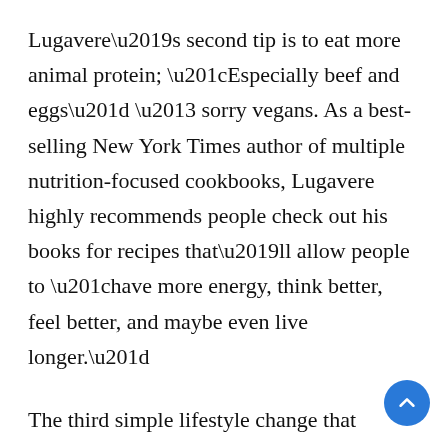Lugavere’s second tip is to eat more animal protein; “Especially beef and eggs” – sorry vegans. As a best-selling New York Times author of multiple nutrition-focused cookbooks, Lugavere highly recommends people check out his books for recipes that’ll allow people to “have more energy, think better, feel better, and maybe even live longer.”
The third simple lifestyle change that Lugavere recommends is to cut back on your cardio and instead focus on strength training. So, if you’re a gym junkie who loves hitting the treadmill, you’ll want to start grabbing some weights instead...